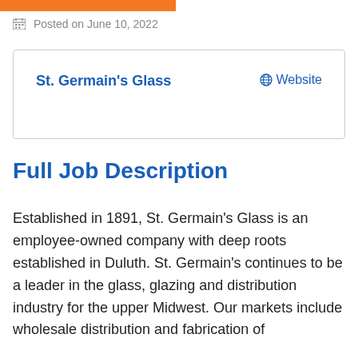Posted on June 10, 2022
St. Germain's Glass   Website
Full Job Description
Established in 1891, St. Germain's Glass is an employee-owned company with deep roots established in Duluth. St. Germain's continues to be a leader in the glass, glazing and distribution industry for the upper Midwest. Our markets include wholesale distribution and fabrication of